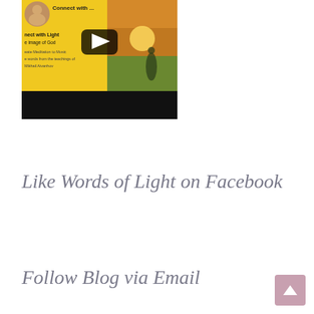[Figure (screenshot): YouTube video thumbnail showing 'Connect with...' title, a yellow background with text 'nect with Light', 'e image of God', 'eate Meditation to Music', 'e words from the teachings of', 'Mikhail Aivanhov', a circular avatar in the top left, a sunset landscape on the right, and a play button overlay. The bottom portion is black.]
Like Words of Light on Facebook
Follow Blog via Email